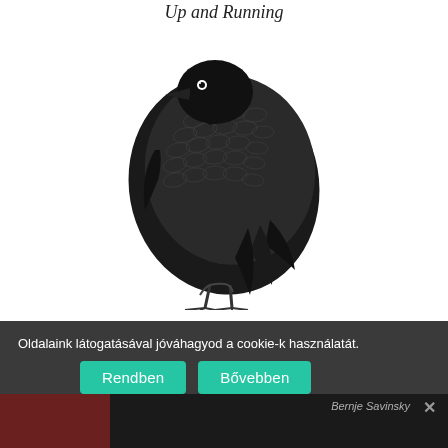[Figure (illustration): Black and white engraving illustration of a bird (rook/crow) perched, with detailed feather texture. Partial book cover visible with italic text 'Up and Running' at the top.]
Java Web Services: Up and Running
Martin Kalin
TOVÁBB
Oldalaink látogatásával jóváhagyod a cookie-k használatát.
Rendben
Bővebben